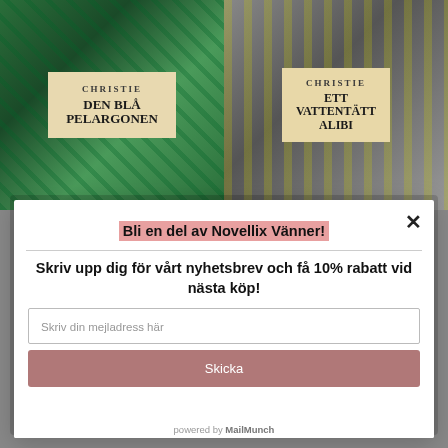[Figure (photo): Two Agatha Christie book covers side by side. Left: 'Den Blå Pelargonen' with green floral background. Right: 'Ett Vattentätt Alibi' with dark/yellow striped background.]
Bli en del av Novellix Vänner!
Skriv upp dig för vårt nyhetsbrev och få 10% rabatt vid nästa köp!
Skriv din mejladress här
Skicka
powered by MailMunch